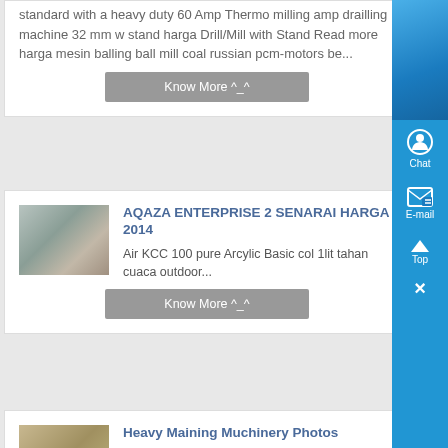standard with a heavy duty 60 Amp Thermo milling amp drailling machine 32 mm w stand harga Drill/Mill with Stand Read more harga mesin balling ball mill coal russian pcm-motors be...
Know More ^_^
[Figure (photo): Industrial mining equipment - circular tank or thickener viewed from above]
AQAZA ENTERPRISE 2 SENARAI HARGA 2014
Air KCC 100 pure Arcylic Basic col 1lit tahan cuaca outdoor...
Know More ^_^
[Figure (photo): Heavy mining machinery equipment photo]
Heavy Maining Muchinery Photos
heavy mining equipment pictur heavy
Chat
E-mail
Top
×